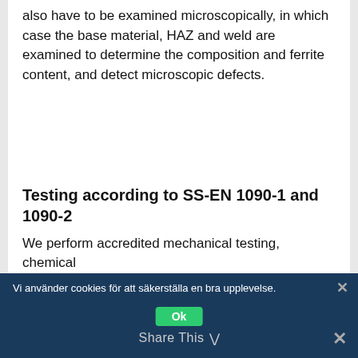also have to be examined microscopically, in which case the base material, HAZ and weld are examined to determine the composition and ferrite content, and detect microscopic defects.
Testing according to SS-EN 1090-1 and 1090-2
We perform accredited mechanical testing, chemical analyzes and metallographic examinations against current national and international standards and quality requirements.
Vi använder cookies för att säkerställa en bra upplevelse.